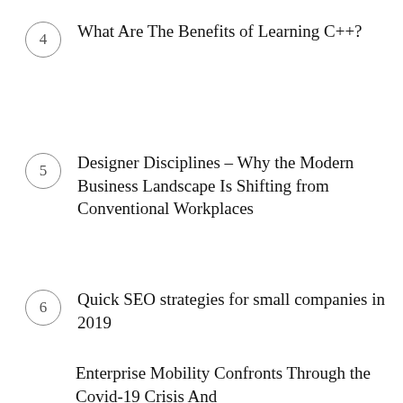4  What Are The Benefits of Learning C++?
5  Designer Disciplines – Why the Modern Business Landscape Is Shifting from Conventional Workplaces
6  Quick SEO strategies for small companies in 2019
Enterprise Mobility Confronts Through the Covid-19 Crisis And